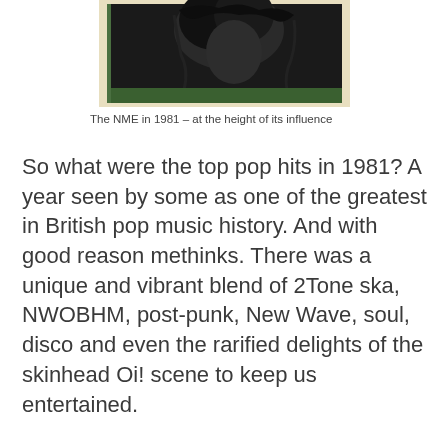[Figure (photo): Partial view of an NME magazine cover from 1981, showing a dark photographic image of a person with curly hair against a green-bordered background on a cream/tan magazine cover.]
The NME in 1981 – at the height of its influence
So what were the top pop hits in 1981? A year seen by some as one of the greatest in British pop music history. And with good reason methinks. There was a unique and vibrant blend of 2Tone ska, NWOBHM, post-punk, New Wave, soul, disco and even the rarified delights of the skinhead Oi! scene to keep us entertained.